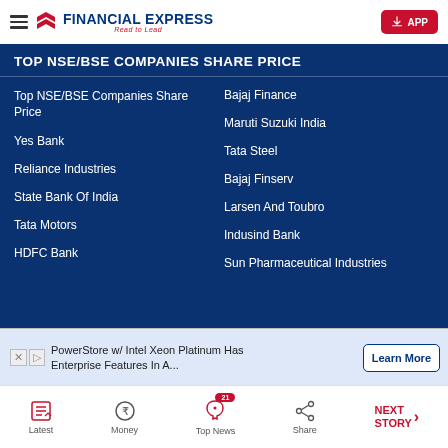FINANCIAL EXPRESS — Read to Lead
TOP NSE/BSE COMPANIES SHARE PRICE
Top NSE/BSE Companies Share Price
Bajaj Finance
Yes Bank
Maruti Suzuki India
Reliance Industries
Tata Steel
State Bank Of India
Bajaj Finserv
Tata Motors
Larsen And Toubro
HDFC Bank
Indusind Bank
Sun Pharmaceutical Industries
PowerStore w/ Intel Xeon Platinum Has Enterprise Features In A...
Latest | Money | Top News (21) | Share | NEXT STORY